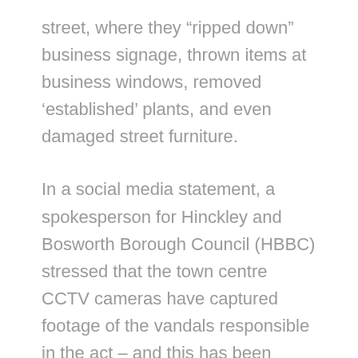street, where they “ripped down” business signage, thrown items at business windows, removed ‘established’ plants, and even damaged street furniture.
In a social media statement, a spokesperson for Hinckley and Bosworth Borough Council (HBBC) stressed that the town centre CCTV cameras have captured footage of the vandals responsible in the act – and this has been reported to Hinckley Police.
They have further encouraged affected businesses who were targeted by the reckless